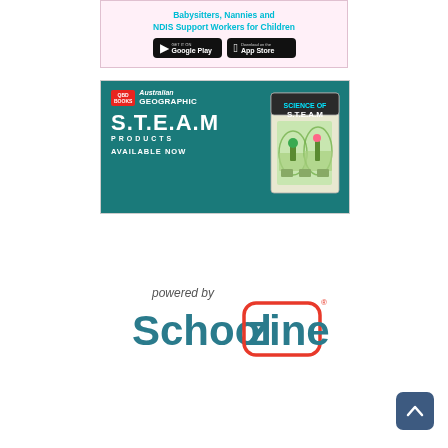[Figure (infographic): Advertisement banner for Babysitters, Nannies and NDIS Support Workers for Children app, with Google Play and App Store download badges on a pink background]
[Figure (infographic): Advertisement for QBD Books Australian Geographic S.T.E.A.M Products Available Now, featuring teal background with product box image on the right]
[Figure (logo): Schoolzine logo with 'powered by' text above it. The logo shows 'School' in teal and 'zine' with an orange-red rounded rectangle border]
[Figure (other): Dark blue rounded square scroll-to-top button with upward chevron arrow]